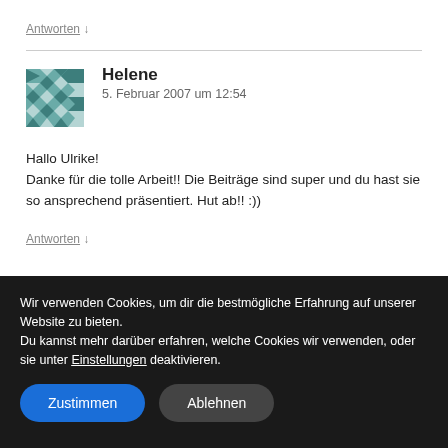Antworten ↓
Helene
5. Februar 2007 um 12:54
Hallo Ulrike!
Danke für die tolle Arbeit!! Die Beiträge sind super und du hast sie so ansprechend präsentiert. Hut ab!! :))
Antworten ↓
Wir verwenden Cookies, um dir die bestmögliche Erfahrung auf unserer Website zu bieten.
Du kannst mehr darüber erfahren, welche Cookies wir verwenden, oder sie unter Einstellungen deaktivieren.
Zustimmen
Ablehnen